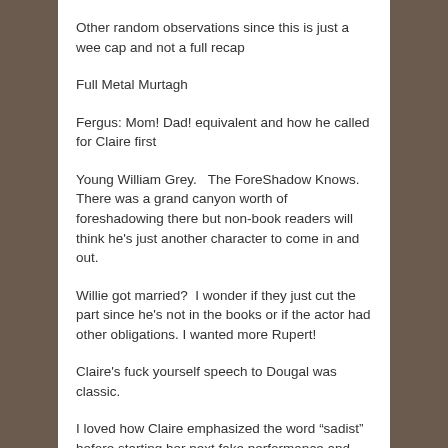Other random observations since this is just a wee cap and not a full recap
Full Metal Murtagh
Fergus: Mom! Dad! equivalent and how he called for Claire first
Young William Grey.   The ForeShadow Knows.  There was a grand canyon worth of foreshadowing there but non-book readers will think he’s just another character to come in and out.
Willie got married?  I wonder if they just cut the part since he’s not in the books or if the actor had other obligations. I wanted more Rupert!
Claire’s fuck yourself speech to Dougal was classic.
I loved how Claire emphasized the word “sadist” before starting her next fake performance and Jamie caught on right away.  It really shows once again how in tune they are with each other. I want to